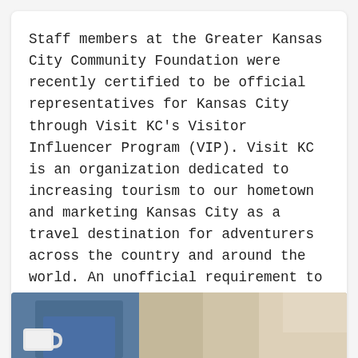Staff members at the Greater Kansas City Community Foundation were recently certified to be official representatives for Kansas City through Visit KC's Visitor Influencer Program (VIP). Visit KC is an organization dedicated to increasing tourism to our hometown and marketing Kansas City as a travel destination for adventurers across the country and around the world. An unofficial requirement to work ...
Read More
GIVING IN KANSAS CITY
GIVING TEAM SPOTLIGHT
[Figure (photo): Photo of a person in a blue shirt holding a white coffee mug, with a blurred background suggesting an office or café setting.]